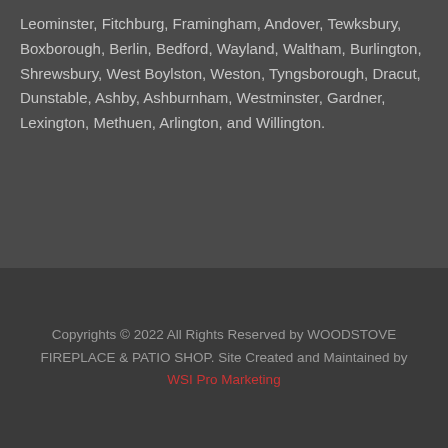Leominster, Fitchburg, Framingham, Andover, Tewksbury, Boxborough, Berlin, Bedford, Wayland, Waltham, Burlington, Shrewsbury, West Boylston, Weston, Tyngsborough, Dracut, Dunstable, Ashby, Ashburnham, Westminster, Gardner, Lexington, Methuen, Arlington, and Willington.
Copyrights © 2022 All Rights Reserved by WOODSTOVE FIREPLACE & PATIO SHOP. Site Created and Maintained by WSI Pro Marketing